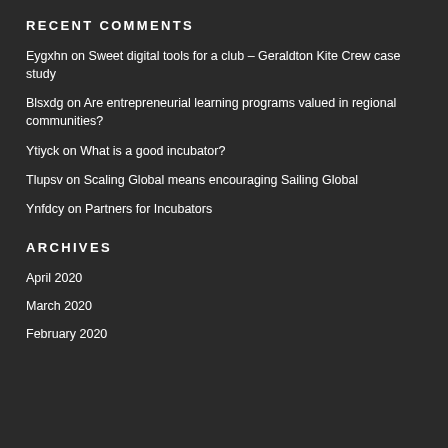RECENT COMMENTS
Eygxhn on Sweet digital tools for a club – Geraldton Kite Crew case study
Blsxdg on Are entrepreneurial learning programs valued in regional communities?
Ytiyck on What is a good incubator?
Tlupsv on Scaling Global means encouraging Sailing Global
Ynfdcy on Partners for Incubators
ARCHIVES
April 2020
March 2020
February 2020